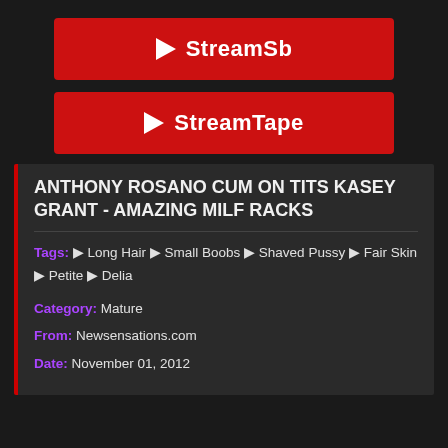[Figure (other): Red StreamSb play button]
[Figure (other): Red StreamTape play button]
ANTHONY ROSANO CUM ON TITS KASEY GRANT - AMAZING MILF RACKS
Tags: Long Hair  Small Boobs  Shaved Pussy  Fair Skin  Petite  Delia
Category: Mature
From: Newsensations.com
Date: November 01, 2012